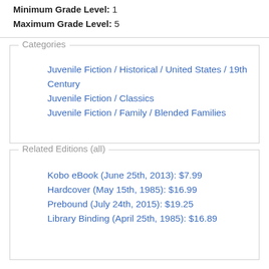Minimum Grade Level: 1
Maximum Grade Level: 5
Categories
Juvenile Fiction / Historical / United States / 19th Century
Juvenile Fiction / Classics
Juvenile Fiction / Family / Blended Families
Related Editions (all)
Kobo eBook (June 25th, 2013): $7.99
Hardcover (May 15th, 1985): $16.99
Prebound (July 24th, 2015): $19.25
Library Binding (April 25th, 1985): $16.89